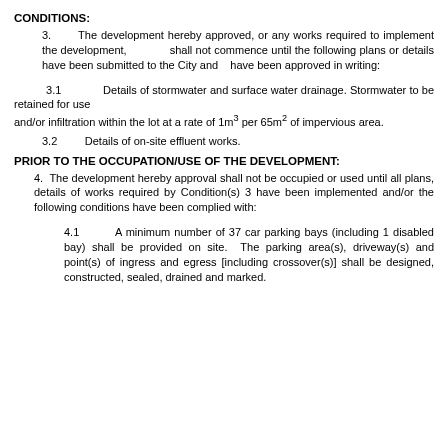CONDITIONS:
3.   The development hereby approved, or any works required to implement the development,        shall not commence until the following plans or details have been submitted to the City and   have been approved in writing:
3.1   Details of stormwater and surface water drainage. Stormwater to be retained for use and/or infiltration within the lot at a rate of 1m³ per 65m² of impervious area.
3.2   Details of on-site effluent works.
PRIOR TO THE OCCUPATION/USE OF THE DEVELOPMENT:
4.  The development hereby approval shall not be occupied or used until all plans, details of works required by Condition(s) 3 have been implemented and/or the following conditions have been complied with:
4.1   A minimum number of 37 car parking bays (including 1 disabled bay) shall be provided on site.  The parking area(s), driveway(s) and point(s) of ingress and egress [including crossover(s)] shall be designed, constructed, sealed, drained and marked.